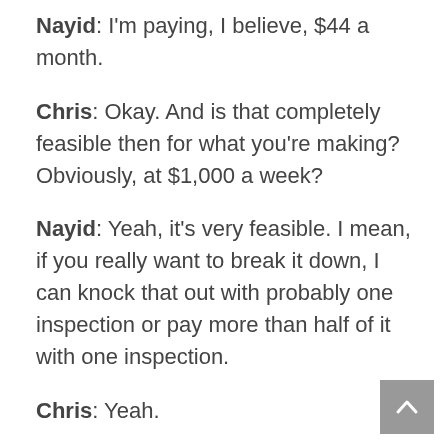Nayid: I'm paying, I believe, $44 a month.
Chris: Okay. And is that completely feasible then for what you're making? Obviously, at $1,000 a week?
Nayid: Yeah, it's very feasible. I mean, if you really want to break it down, I can knock that out with probably one inspection or pay more than half of it with one inspection.
Chris: Yeah.
Nayid: So it's very feasible. I don't know. It's just awesome. I guess some people look at it in a negative way, but I mean,